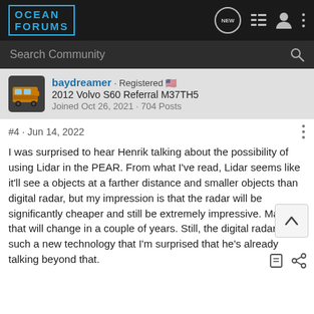OCEAN FORUMS
Search Community
baydreamer · Registered
2012 Volvo S60 Referral M37TH5
Joined Oct 26, 2021 · 704 Posts
#4 · Jun 14, 2022
I was surprised to hear Henrik talking about the possibility of using Lidar in the PEAR. From what I've read, Lidar seems like it'll see a objects at a farther distance and smaller objects than digital radar, but my impression is that the radar will be significantly cheaper and still be extremely impressive. Maybe that will change in a couple of years. Still, the digital radar is such a new technology that I'm surprised that he's already talking beyond that.